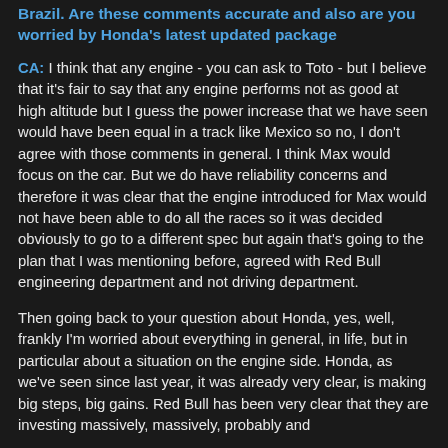Brazil. Are these comments accurate and also are you worried by Honda's latest updated package
CA: I think that any engine - you can ask to Toto - but I believe that it's fair to say that any engine performs not as good at high altitude but I guess the power increase that we have seen would have been equal in a track like Mexico so no, I don't agree with those comments in general. I think Max would focus on the car. But we do have reliability concerns and therefore it was clear that the engine introduced for Max would not have been able to do all the races so it was decided obviously to go to a different spec but again that's going to the plan that I was mentioning before, agreed with Red Bull engineering department and not driving department.
Then going back to your question about Honda, yes, well, frankly I'm worried about everything in general, in life, but in particular about a situation on the engine side. Honda, as we've seen since last year, it was already very clear, is making big steps, big gains. Red Bull has been very clear that they are investing massively, massively, probably and